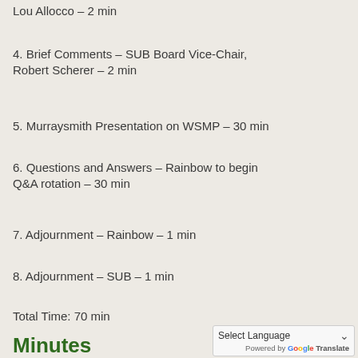Lou Allocco – 2 min
4. Brief Comments – SUB Board Vice-Chair, Robert Scherer – 2 min
5. Murraysmith Presentation on WSMP – 30 min
6. Questions and Answers – Rainbow to begin Q&A rotation – 30 min
7. Adjournment – Rainbow – 1 min
8. Adjournment – SUB – 1 min
Total Time: 70 min
Minutes